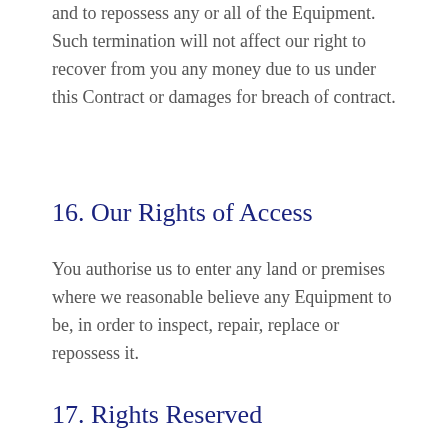and to repossess any or all of the Equipment. Such termination will not affect our right to recover from you any money due to us under this Contract or damages for breach of contract.
16. Our Rights of Access
You authorise us to enter any land or premises where we reasonable believe any Equipment to be, in order to inspect, repair, replace or repossess it.
17. Rights Reserved